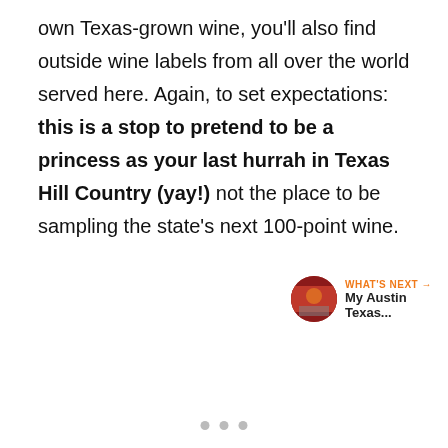own Texas-grown wine, you'll also find outside wine labels from all over the world served here. Again, to set expectations: this is a stop to pretend to be a princess as your last hurrah in Texas Hill Country (yay!) not the place to be sampling the state's next 100-point wine.
[Figure (screenshot): Gray UI box with heart/like button (orange circle), like count of 2, share button, and a 'What's Next' card showing a thumbnail and 'My Austin Texas...' label]